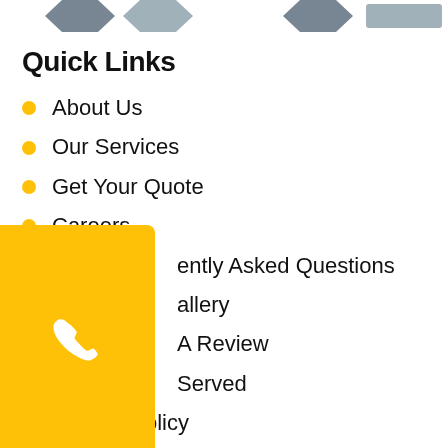[Figure (other): Partial hexagonal shield icons at the top of the page, grey/steel colored]
Quick Links
About Us
Our Services
Get Your Quote
Careers
Frequently Asked Questions
Gallery
Leave A Review
Areas Served
Privacy Policy
Blog
Contact Us
Sitemap
[Figure (other): Yellow phone call button overlay on the left side]